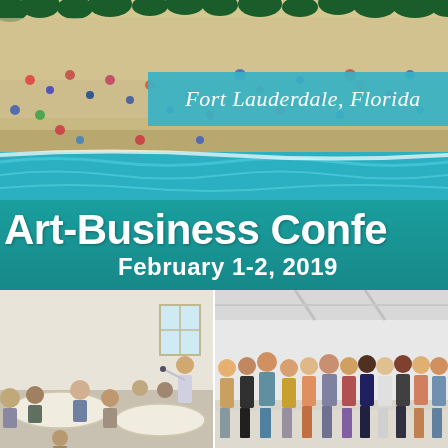[Figure (photo): Aerial view of Fort Lauderdale beach with colorful umbrellas, people on sandy beach and ocean waves, with tropical palm trees at top]
Fort Lauderdale, Florida
Art-Business Conference
February 1-2, 2019
[Figure (photo): Indoor conference workshop scene with presenter and attendees seated at round tables]
[Figure (photo): Group photo of conference attendees standing together in a large bright room]